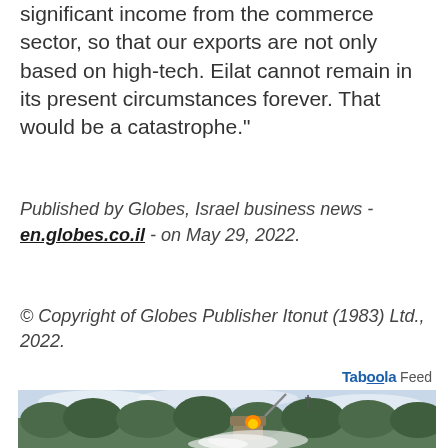significant income from the commerce sector, so that our exports are not only based on high-tech. Eilat cannot remain in its present circumstances forever. That would be a catastrophe."
Published by Globes, Israel business news - en.globes.co.il - on May 29, 2022.
© Copyright of Globes Publisher Itonut (1983) Ltd., 2022.
Taboola Feed
[Figure (photo): Photograph of a missile defense system (Iron Dome launcher) firing a missile, with smoke and flame at the base, against a sky background with trees visible.]